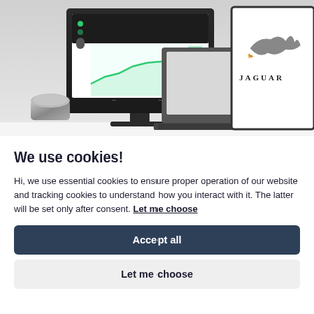[Figure (screenshot): Photo of a desk setup showing a dark monitor with a green line chart on screen, a laptop with a light gray screen behind it, a small cylindrical Bluetooth speaker, and a tablet/iPad displaying the Jaguar logo on the right side.]
We use cookies!
Hi, we use essential cookies to ensure proper operation of our website and tracking cookies to understand how you interact with it. The latter will be set only after consent. Let me choose
Accept all
Let me choose